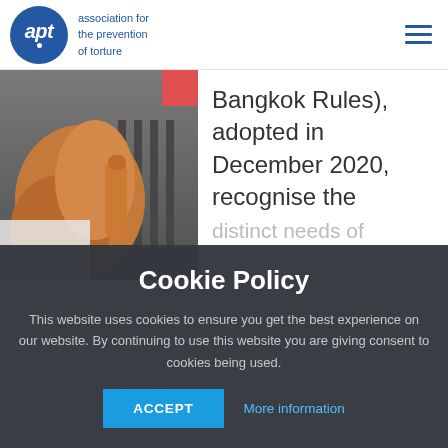apt — association for the prevention of torture
[Figure (photo): Close-up photo of a person's hand gripping prison bars, with a red accent square in the top-right corner of the image]
Bangkok Rules), adopted in December 2020, recognise the distinct needs of
Cookie Policy
This website uses cookies to ensure you get the best experience on our website. By continuing to use this website you are giving consent to cookies being used.
ACCEPT   More information